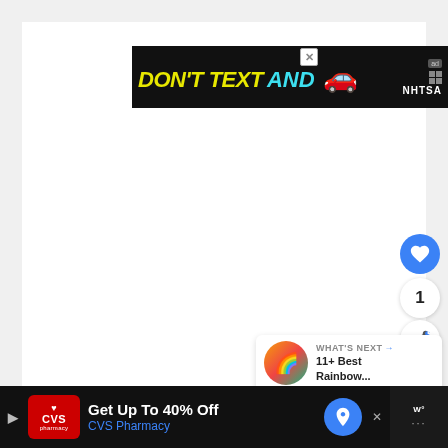[Figure (infographic): NHTSA 'Don't Text and Drive' advertisement banner with bold yellow text 'DON'T TEXT' and cyan text 'AND', a red car emoji, Ad Council logo, and NHTSA branding on black background]
[Figure (infographic): White content area (main page body, mostly blank/loading)]
[Figure (other): Blue circular like/heart button, count '1', and share button on right side of page]
1
[Figure (infographic): WHAT'S NEXT panel with thumbnail image and text '11+ Best Rainbow...']
WHAT'S NEXT → 11+ Best Rainbow...
[Figure (infographic): CVS Pharmacy advertisement on black background: 'Get Up To 40% Off CVS Pharmacy' with navigation arrow icon]
Get Up To 40% Off CVS Pharmacy